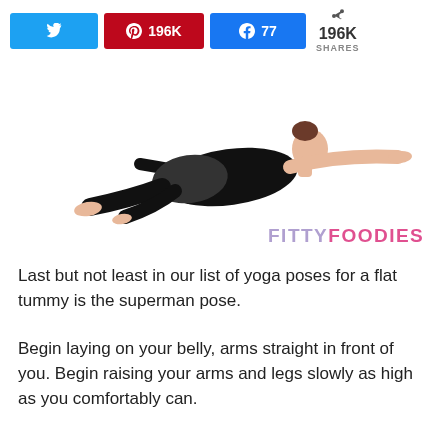[Figure (infographic): Social share bar with Twitter (blue), Pinterest (red, 196K), Facebook (blue, 77), and a total share count of 196K SHARES]
[Figure (photo): Woman in black sportswear performing the superman yoga pose — lying face down with arms and legs extended and raised off the ground, white background. FITTYFOODIES watermark logo in lower right.]
Last but not least in our list of yoga poses for a flat tummy is the superman pose.
Begin laying on your belly, arms straight in front of you. Begin raising your arms and legs slowly as high as you comfortably can.